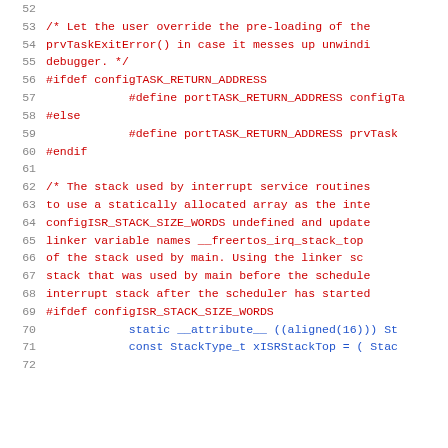Source code listing lines 52-72, C preprocessor and C code for FreeRTOS port configuration including configTASK_RETURN_ADDRESS, portTASK_RETURN_ADDRESS, and configISR_STACK_SIZE_WORDS definitions with static __attribute__ aligned stack allocation.